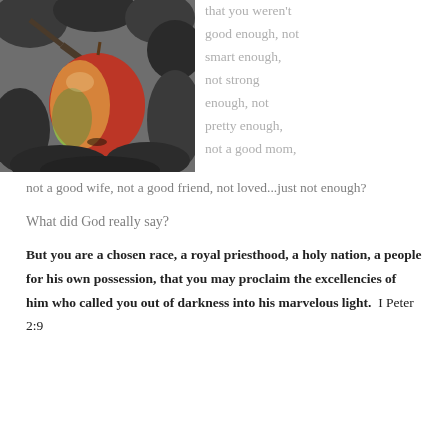[Figure (photo): Black and white photo with a single colorized apple on a tree branch with leaves in the background.]
that you weren't good enough, not smart enough, not strong enough, not pretty enough, not a good mom, not a good wife, not a good friend, not loved...just not enough?
What did God really say?
But you are a chosen race, a royal priesthood, a holy nation, a people for his own possession, that you may proclaim the excellencies of him who called you out of darkness into his marvelous light.  I Peter 2:9